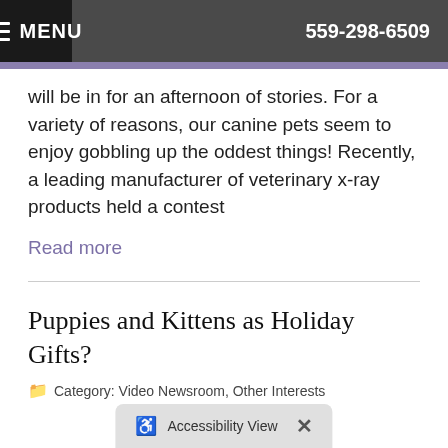MENU   559-298-6509
will be in for an afternoon of stories. For a variety of reasons, our canine pets seem to enjoy gobbling up the oddest things! Recently, a leading manufacturer of veterinary x-ray products held a contest
Read more
Puppies and Kittens as Holiday Gifts?
Category: Video Newsroom, Other Interests
[Figure (photo): A puppy and kitten together dressed in holiday clothing]
Christmas time advertisements often picture a happy